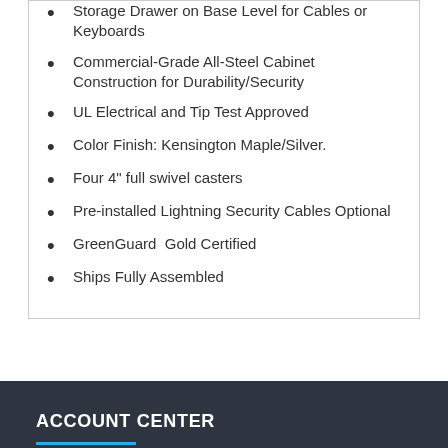Storage Drawer on Base Level for Cables or Keyboards
Commercial-Grade All-Steel Cabinet Construction for Durability/Security
UL Electrical and Tip Test Approved
Color Finish: Kensington Maple/Silver.
Four 4" full swivel casters
Pre-installed Lightning Security Cables Optional
GreenGuard  Gold Certified
Ships Fully Assembled
ACCOUNT CENTER